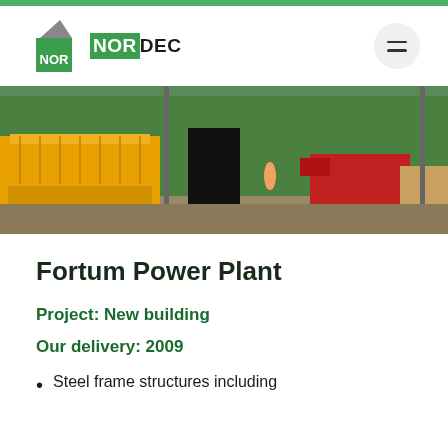[Figure (logo): Nordec company logo with green square icon and dark text]
[Figure (photo): Construction site with yellow scissor lift and red forklift in front of a green industrial building]
Fortum Power Plant
Project: New building
Our delivery: 2009
Steel frame structures including